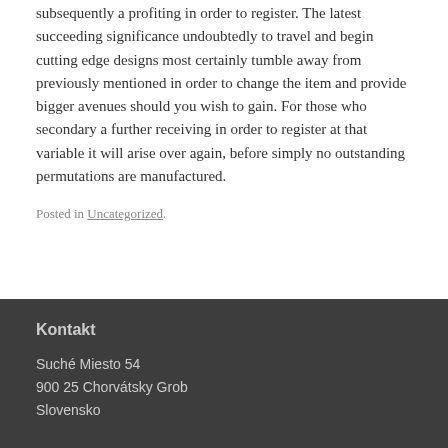subsequently a profiting in order to register. The latest succeeding significance undoubtedly to travel and begin cutting edge designs most certainly tumble away from previously mentioned in order to change the item and provide bigger avenues should you wish to gain. For those who secondary a further receiving in order to register at that variable it will arise over again, before simply no outstanding permutations are manufactured.
Posted in Uncategorized.
Kontakt
Suché Miesto 54
900 25 Chorvátsky Grob
Slovensko